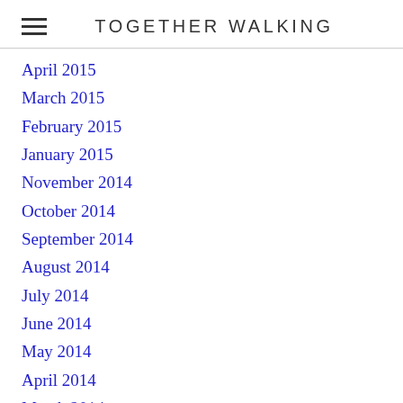TOGETHER WALKING
April 2015
March 2015
February 2015
January 2015
November 2014
October 2014
September 2014
August 2014
July 2014
June 2014
May 2014
April 2014
March 2014
February 2014
January 2014
December 2013
November 2013
October 2013